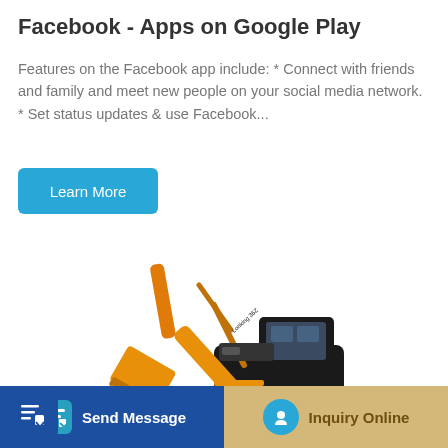Facebook - Apps on Google Play
Features on the Facebook app include: * Connect with friends and family and meet new people on your social media network. * Set status updates & use Facebook...
Learn More
[Figure (photo): Orange excavator/construction machine on white background]
Send Message
Inquiry Online